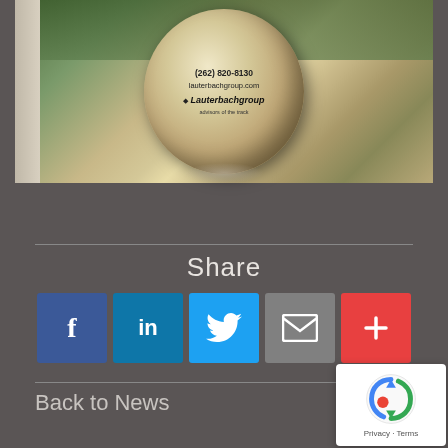[Figure (photo): Photo of a crystal/glass ball award with Lauterbach Group branding showing phone number (262) 820-8130, website lauterbachgroup.com, and logo, placed near a window]
Share
[Figure (infographic): Social sharing buttons: Facebook (blue), LinkedIn (blue), Twitter (light blue), Email (gray), More/Plus (red)]
Back to News